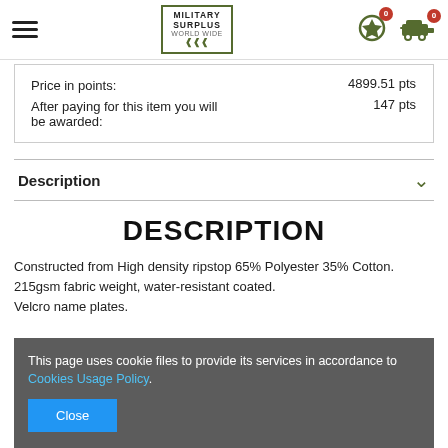Military Surplus — navigation header with hamburger menu, logo, and cart icons
|  |  |
| --- | --- |
| Price in points: | 4899.51 pts |
| After paying for this item you will be awarded: | 147 pts |
Description
DESCRIPTION
Constructed from High density ripstop 65% Polyester 35% Cotton. 215gsm fabric weight, water-resistant coated.
Velcro name plates.
This page uses cookie files to provide its services in accordance to Cookies Usage Policy. [Close button]